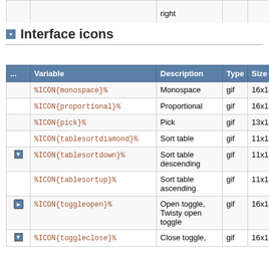|  | right |  |  |  |
| --- | --- | --- | --- | --- |
Interface icons
|  | Variable | Description | Type | Size | Alia |
| --- | --- | --- | --- | --- | --- |
|  | %ICON{monospace}% | Monospace | gif | 16x16 |  |
|  | %ICON{proportional}% | Proportional | gif | 16x16 |  |
|  | %ICON{pick}% | Pick | gif | 13x19 |  |
|  | %ICON{tablesortdiamond}% | Sort table | gif | 11x13 |  |
| ▼ | %ICON{tablesortdown}% | Sort table descending | gif | 11x13 |  |
|  | %ICON{tablesortup}% | Sort table ascending | gif | 11x13 |  |
| ▶ | %ICON{toggleopen}% | Open toggle, Twisty open toggle | gif | 16x16 |  |
| ▼ | %ICON{toggleclose}% | Close toggle, | gif | 16x16 |  |